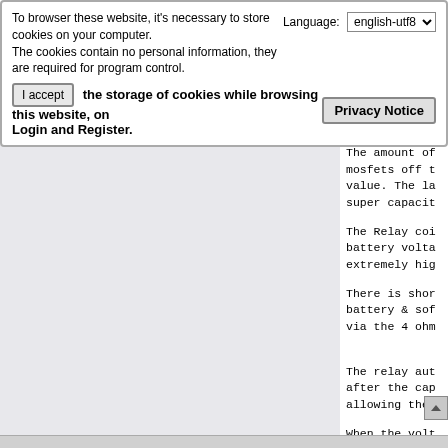To browser these website, it's necessary to store cookies on your computer.
The cookies contain no personal information, they are required for program control.
Language: english-utf8
I accept the storage of cookies while browsing this website, on Login and Register.
Privacy Notice
The amount of mosfets off t value. The la super capacit
The Relay coi battery volta extremely hig
There is shor battery & sof via the 4 ohm
The relay aut after the cap allowing the
When the volt the relay con takes over, c
This is to ta The capacitor charge while t